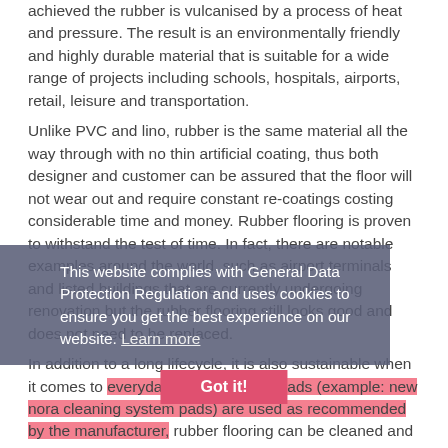achieved the rubber is vulcanised by a process of heat and pressure. The result is an environmentally friendly and highly durable material that is suitable for a wide range of projects including schools, hospitals, airports, retail, leisure and transportation.
Unlike PVC and lino, rubber is the same material all the way through with no thin artificial coating, thus both designer and customer can be assured that the floor will not wear out and require constant re-coatings costing considerable time and money. Rubber flooring is proven to withstand the test of time. In fact, there are notable examples around the world, such as airport terminals and listed buildings that are currently undergoing renovation but the rubber flooring still looks good and does not need to be replaced.
This website complies with General Data Protection Regulation and uses cookies to ensure you get the best experience on our website. Learn more
Got it!
In addition to a long lifecycle, it is also sustainable when it comes to everyday care. If special pads (example: new nora cleaning system pads) are used as recommended by the manufacturer, rubber flooring can be cleaned and polished with just water – absolutely no chemicals are required. This process saves